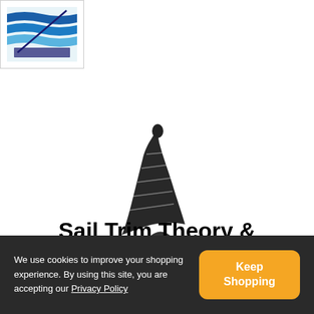[Figure (logo): Blue wavy stripes logo in top-left corner]
[Figure (illustration): Black and white illustration of a sailboat sail with waves at the bottom, silhouette style]
Sail Trim Theory & Practice
Catalogue Code: 710244
£15.95
We use cookies to improve your shopping experience. By using this site, you are accepting our Privacy Policy
Keep Shopping